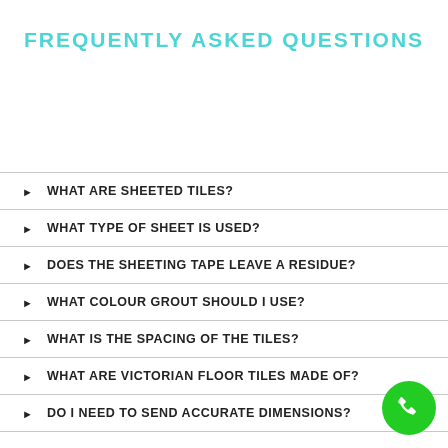FREQUENTLY ASKED QUESTIONS
WHAT ARE SHEETED TILES?
WHAT TYPE OF SHEET IS USED?
DOES THE SHEETING TAPE LEAVE A RESIDUE?
WHAT COLOUR GROUT SHOULD I USE?
WHAT IS THE SPACING OF THE TILES?
WHAT ARE VICTORIAN FLOOR TILES MADE OF?
DO I NEED TO SEND ACCURATE DIMENSIONS?